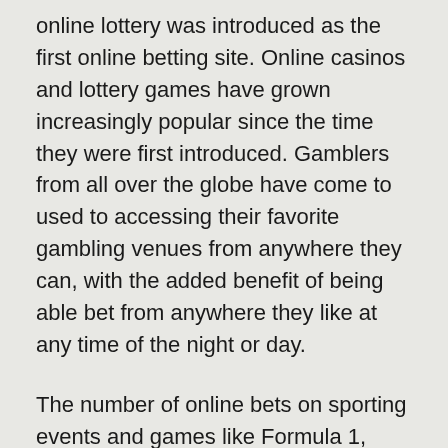online lottery was introduced as the first online betting site. Online casinos and lottery games have grown increasingly popular since the time they were first introduced. Gamblers from all over the globe have come to used to accessing their favorite gambling venues from anywhere they can, with the added benefit of being able bet from anywhere they like at any time of the night or day.
The number of online bets on sporting events and games like Formula 1, drawings and Formula 1 has increased in recent years due to the implementation of new technology that permits online gambling companies to offer players access to multiple online gambling venues. This opens up the possibility for more gamblers to bet online however it also creates problems for betting companies that operate online